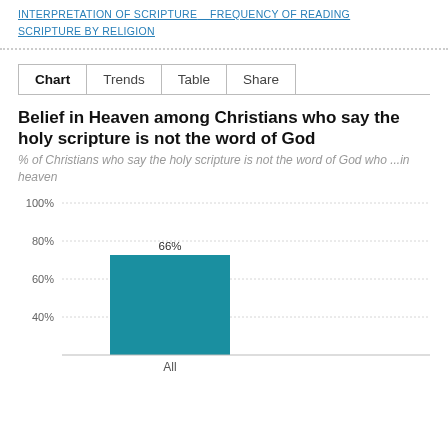INTERPRETATION OF SCRIPTURE  FREQUENCY OF READING SCRIPTURE BY RELIGION
Chart   Trends   Table   Share
Belief in Heaven among Christians who say the holy scripture is not the word of God
% of Christians who say the holy scripture is not the word of God who ...in heaven
[Figure (bar-chart): Belief in Heaven among Christians who say the holy scripture is not the word of God]